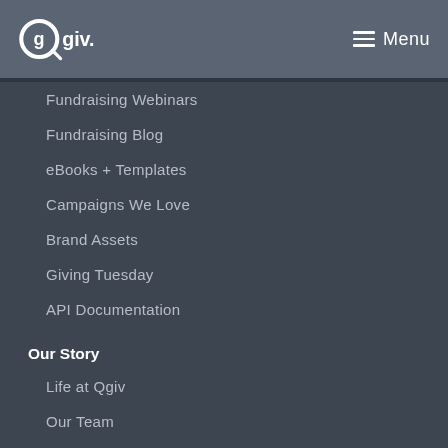Qgiv Menu
Fundraising Webinars
Fundraising Blog
eBooks + Templates
Campaigns We Love
Brand Assets
Giving Tuesday
API Documentation
Our Story
Life at Qgiv
Our Team
Awards